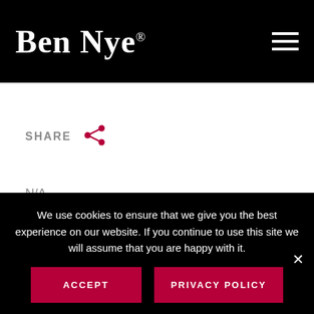Ben Nye®
SHARE
N/A
FIND A STORE
ADD TO WISHLIST
We use cookies to ensure that we give you the best experience on our website. If you continue to use this site we will assume that you are happy with it.
ACCEPT
PRIVACY POLICY